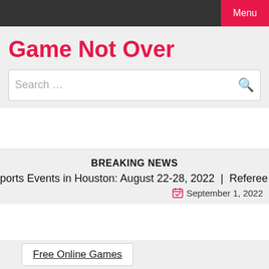Menu
Game Not Over
Search …
BREAKING NEWS
Sports Events in Houston: August 22-28, 2022  |  Referee sho
September 1, 2022
Free Online Games